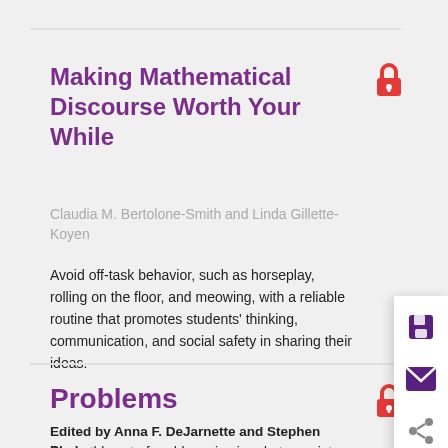Making Mathematical Discourse Worth Your While
Claudia M. Bertolone-Smith and Linda Gillette-Koyen
Avoid off-task behavior, such as horseplay, rolling on the floor, and meowing, with a reliable routine that promotes students' thinking, communication, and social safety in sharing their ideas.
Problems
Edited by Anna F. DeJarnette and Stephen Phelps
A monthly set of problems is aimed at a variety